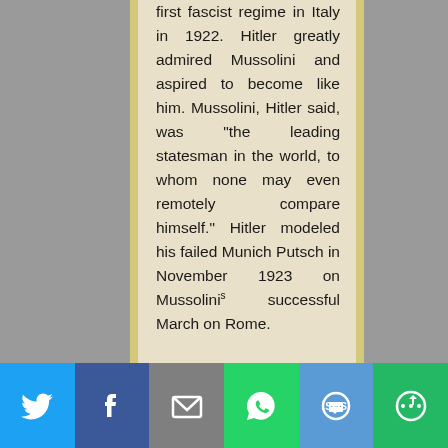first fascist regime in Italy in 1922. Hitler greatly admired Mussolini and aspired to become like him. Mussolini, Hitler said, was "the leading statesman in the world, to whom none may even remotely compare himself." Hitler modeled his failed Munich Putsch in November 1923 on Mussolini's successful March on Rome.
[Figure (screenshot): Social media share bar with Twitter, Facebook, Email, WhatsApp, SMS, and More buttons]